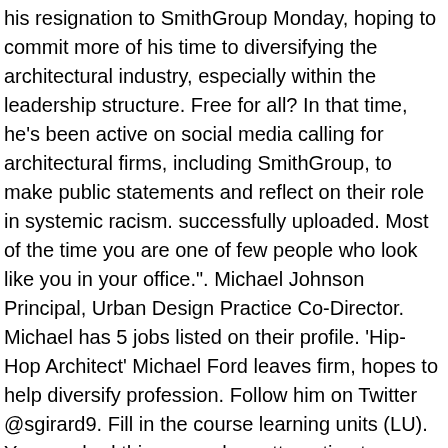his resignation to SmithGroup Monday, hoping to commit more of his time to diversifying the architectural industry, especially within the leadership structure. Free for all? In that time, he's been active on social media calling for architectural firms, including SmithGroup, to make public statements and reflect on their role in systemic racism. successfully uploaded. Most of the time you are one of few people who look like you in your office.". Michael Johnson Principal, Urban Design Practice Co-Director. Michael has 5 jobs listed on their profile. 'Hip-Hop Architect' Michael Ford leaves firm, hopes to help diversify profession. Follow him on Twitter @sgirard9. Fill in the course learning units (LU). You reached this page when attempting to access https://www.architectmagazine.com/practice/hip-hop-architect-michael-ford-joins-smithgroup_o from 159.89.195.6 on 2020-11-05 22:24:26 UTC. Michael Ford, known as the “Hip-Hop Architect” who has run local camps to introduce black and brown children to the field, submitted his resignation to SmithGroup